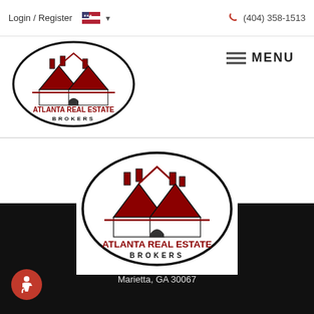Login / Register  (404) 358-1513  MENU
[Figure (logo): Atlanta Real Estate Brokers logo - small, top left, oval with house rooftops]
[Figure (logo): Atlanta Real Estate Brokers logo - large, centered, oval with house rooftops]
CONTACT
Atlanta Real Estate Brokers LLC
187 Lakeshore Drive
Marietta, GA 30067